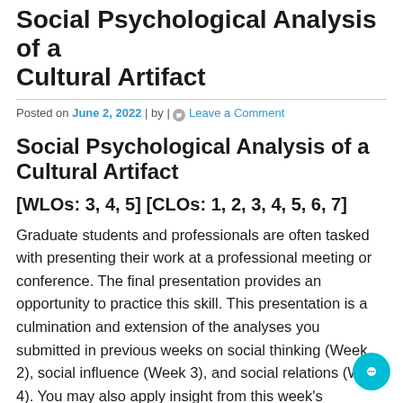Social Psychological Analysis of a Cultural Artifact
Posted on June 2, 2022 | by | Leave a Comment
Social Psychological Analysis of a Cultural Artifact
[WLOs: 3, 4, 5] [CLOs: 1, 2, 3, 4, 5, 6, 7]
Graduate students and professionals are often tasked with presenting their work at a professional meeting or conference. The final presentation provides an opportunity to practice this skill. This presentation is a culmination and extension of the analyses you submitted in previous weeks on social thinking (Week 2), social influence (Week 3), and social relations (Week 4). You may also apply insight from this week's discussion of prejudice. Your presentation is